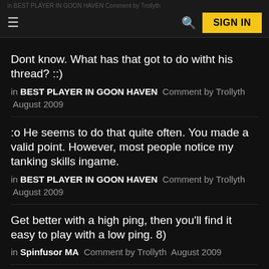BEST PLAYER IN GOON HAVEN Comment by Trollyth
Dont know. What has that got to do witht his thread? ::)
in BEST PLAYER IN GOON HAVEN Comment by Trollyth August 2009
:o He seems to do that quite often. You made a valid point. However, most people notice my tanking skills ingame.
in BEST PLAYER IN GOON HAVEN Comment by Trolllyth August 2009
Get better with a high ping, then you'll find it easy to play with a low ping. 8)
in Spinfusor MA Comment by Trollyth August 2009
I started this? You really are 10 years old, arent you? That didnt start anything, but someone had to post